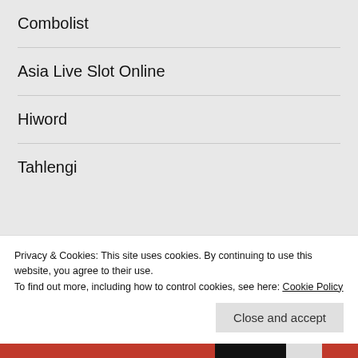Combolist
Asia Live Slot Online
Hiword
Tahlengi
ARCHIVES
August 2022
Advertisements
Privacy & Cookies: This site uses cookies. By continuing to use this website, you agree to their use.
To find out more, including how to control cookies, see here: Cookie Policy
Close and accept